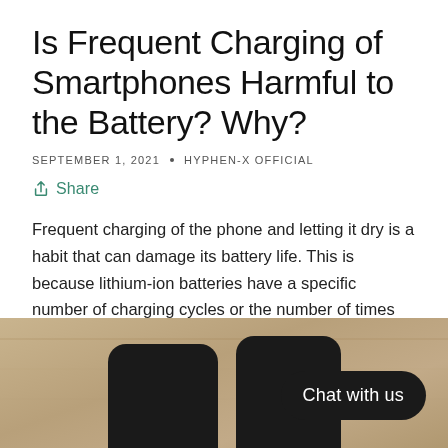Is Frequent Charging of Smartphones Harmful to the Battery? Why?
SEPTEMBER 1, 2021 • HYPHEN-X OFFICIAL
Share
Frequent charging of the phone and letting it dry is a habit that can damage its battery life. This is because lithium-ion batteries have a specific number of charging cycles or the number of times they can be fully charged
[Figure (photo): Three smartphones lying on a wooden surface, with a dark 'Chat with us' bubble in the bottom right]